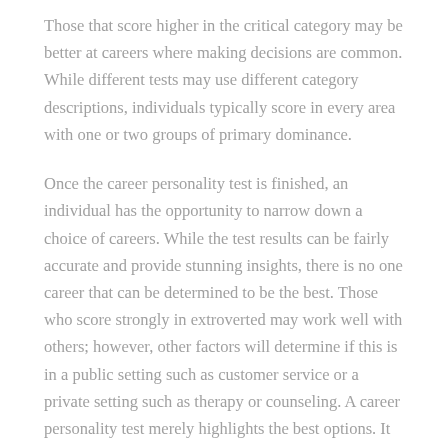Those that score higher in the critical category may be better at careers where making decisions are common. While different tests may use different category descriptions, individuals typically score in every area with one or two groups of primary dominance.
Once the career personality test is finished, an individual has the opportunity to narrow down a choice of careers. While the test results can be fairly accurate and provide stunning insights, there is no one career that can be determined to be the best. Those who score strongly in extroverted may work well with others; however, other factors will determine if this is in a public setting such as customer service or a private setting such as therapy or counseling. A career personality test merely highlights the best options. It is up to the test taker to use his or her preferences to make the final decision.